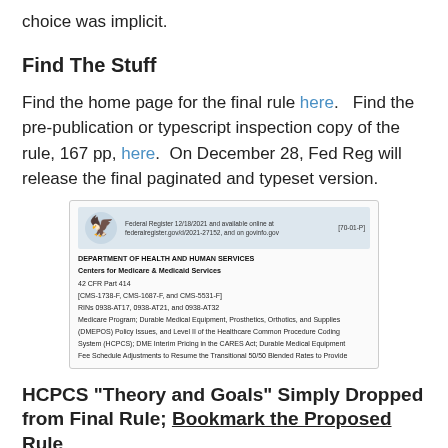choice was implicit.
Find The Stuff
Find the home page for the final rule here.   Find the pre-publication or typescript inspection copy of the rule, 167 pp, here.  On December 28, Fed Reg will release the final paginated and typeset version.
[Figure (screenshot): Screenshot of a Federal Register document page showing Department of Health and Human Services, Centers for Medicare & Medicaid Services, 42 CFR Part 414, CMS rule details about Durable Medical Equipment, Prosthetics, Orthotics, and Supplies (DMEPOS) policy issues and HCPCS coding.]
HCPCS "Theory and Goals" Simply Dropped from Final Rule; Bookmark the Proposed Rule
CMS is dropping some proposals such as regulations that HCPCS codes would follow CMS determinations or similar...